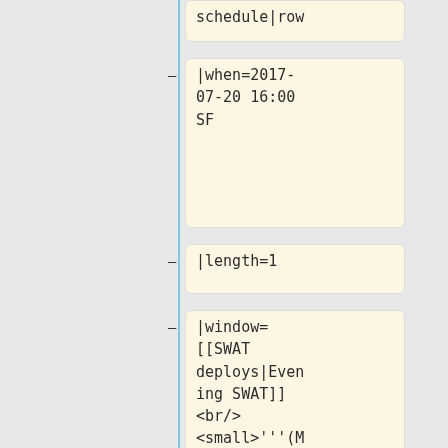schedule|row
|when=2017-07-20 16:00 SF
|length=1
|window= [[SWAT deploys|Evening SWAT]] <br/> <small>'''(Max 8 patches)'''</small>
|who= {{ircnick|addshore}}, {{ircnick|hashar|Antoine